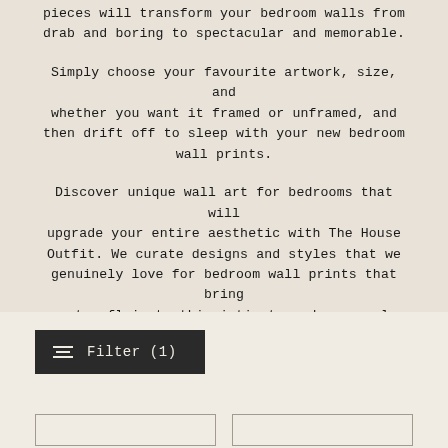pieces will transform your bedroom walls from drab and boring to spectacular and memorable.
Simply choose your favourite artwork, size, and whether you want it framed or unframed, and then drift off to sleep with your new bedroom wall prints.
Discover unique wall art for bedrooms that will upgrade your entire aesthetic with The House Outfit. We curate designs and styles that we genuinely love for bedroom wall prints that bring extra flair to this intimate and personal space.
Filter (1)